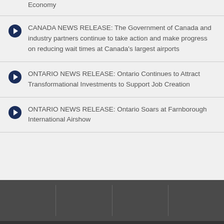Economy
CANADA NEWS RELEASE: The Government of Canada and industry partners continue to take action and make progress on reducing wait times at Canada's largest airports
ONTARIO NEWS RELEASE: Ontario Continues to Attract Transformational Investments to Support Job Creation
ONTARIO NEWS RELEASE: Ontario Soars at Farnborough International Airshow